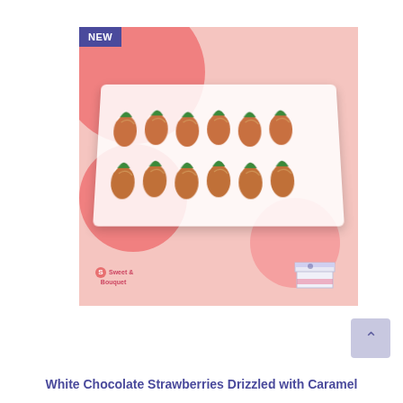[Figure (photo): Product photo of white chocolate strawberries drizzled with caramel arranged on a white tray, on a pink polka-dot background, with a gift box in the bottom-right corner and a 'NEW' badge in the top-left corner.]
White Chocolate Strawberries Drizzled with Caramel